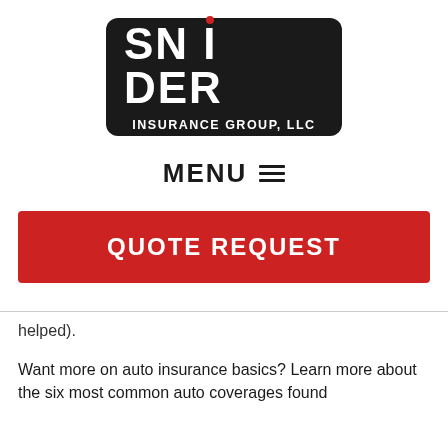[Figure (logo): Snider Insurance Group, LLC logo - white text on black rounded rectangle background with red dot above the 'I' in SNIDER and a red horizontal line separating SNIDER from INSURANCE GROUP, LLC]
MENU ☰
QUOTE REQUEST
helped).
Want more on auto insurance basics? Learn more about the six most common auto coverages found